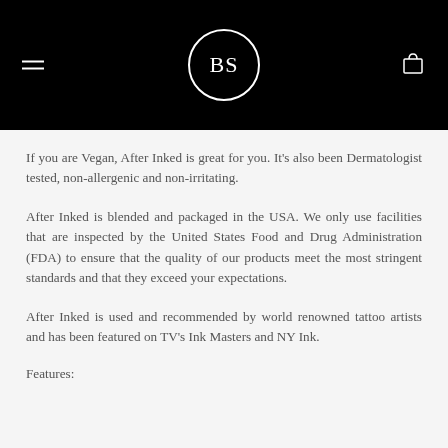[Figure (logo): Black header bar with hamburger menu icon on left, circular BS logo in center, shopping bag icon on right]
If you are Vegan, After Inked is great for you. It's also been Dermatologist tested, non-allergenic and non-irritating.
After Inked is blended and packaged in the USA. We only use facilities that are inspected by the United States Food and Drug Administration (FDA) to ensure that the quality of our products meet the most stringent standards and that they exceed your expectations.
After Inked is used and recommended by world renowned tattoo artists and has been featured on TV's Ink Masters and NY Ink.
Features: